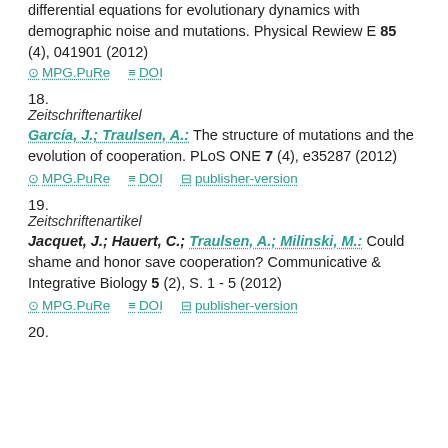differential equations for evolutionary dynamics with demographic noise and mutations. Physical Rewiew E 85 (4), 041901 (2012)
MPG.PuRe   DOI
18.
Zeitschriftenartikel
García, J.; Traulsen, A.: The structure of mutations and the evolution of cooperation. PLoS ONE 7 (4), e35287 (2012)
MPG.PuRe   DOI   publisher-version
19.
Zeitschriftenartikel
Jacquet, J.; Hauert, C.; Traulsen, A.; Milinski, M.: Could shame and honor save cooperation? Communicative & Integrative Biology 5 (2), S. 1 - 5 (2012)
MPG.PuRe   DOI   publisher-version
20.